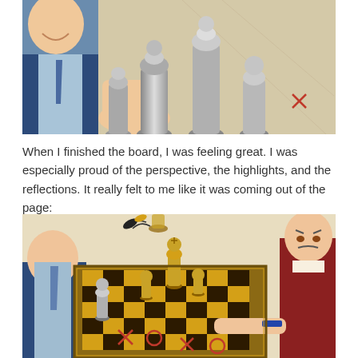[Figure (illustration): Close-up painting of a person in a suit smiling, with large silver metallic chess pieces in the foreground on a light background with a red cross mark in the corner.]
When I finished the board, I was feeling great. I was especially proud of the perspective, the highlights, and the reflections. It really felt to me like it was coming out of the page:
[Figure (illustration): Hyperrealistic painting of two people playing chess on a golden and black chessboard. The board also has tic-tac-toe marks (X and O) drawn on it. One player on the left wears a suit and tie, gesturing at the board. A second player on the right wears a red/maroon jacket and holds a pen. Large gold and silver chess pieces are prominently featured. Some pieces appear to be floating or flying off the board in the upper left.]